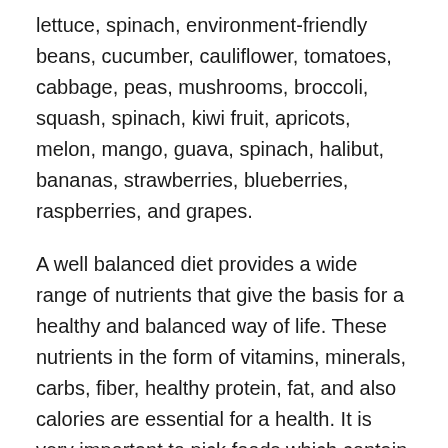lettuce, spinach, environment-friendly beans, cucumber, cauliflower, tomatoes, cabbage, peas, mushrooms, broccoli, squash, spinach, kiwi fruit, apricots, melon, mango, guava, spinach, halibut, bananas, strawberries, blueberries, raspberries, and grapes.
A well balanced diet provides a wide range of nutrients that give the basis for a healthy and balanced way of life. These nutrients in the form of vitamins, minerals, carbs, fiber, healthy protein, fat, and also calories are essential for a health. It is very important to pick foods which contain an equilibrium of these nutrients. Vegetables and fruits are great resources of all of these nutritional components. сайт здоровья